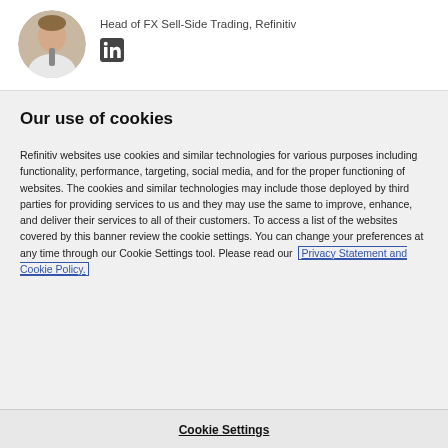Head of FX Sell-Side Trading, Refinitiv
[Figure (photo): Circular headshot photo of a man in a white shirt and tie]
[Figure (logo): LinkedIn icon/logo square]
Our use of cookies
Refinitiv websites use cookies and similar technologies for various purposes including functionality, performance, targeting, social media, and for the proper functioning of websites. The cookies and similar technologies may include those deployed by third parties for providing services to us and they may use the same to improve, enhance, and deliver their services to all of their customers. To access a list of the websites covered by this banner review the cookie settings. You can change your preferences at any time through our Cookie Settings tool. Please read our Privacy Statement and Cookie Policy.
Cookie Settings